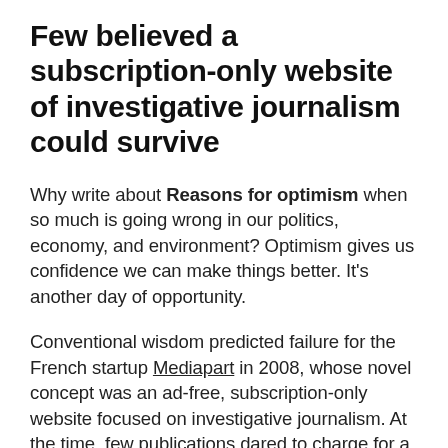Few believed a subscription-only website of investigative journalism could survive
Why write about Reasons for optimism when so much is going wrong in our politics, economy, and environment? Optimism gives us confidence we can make things better. It's another day of opportunity.
Conventional wisdom predicted failure for the French startup Mediapart in 2008, whose novel concept was an ad-free, subscription-only website focused on investigative journalism. At the time, few publications dared to charge for a digital subscription, much less for one with such a narrow focus and limited potential audience.